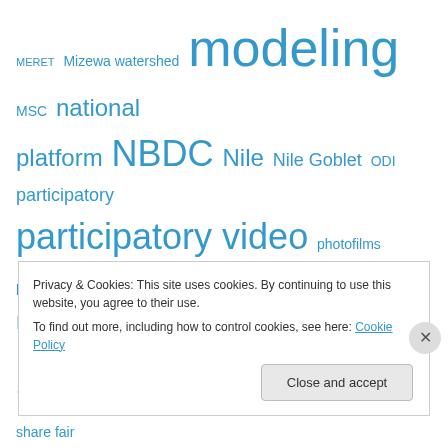MERET Mizewa watershed modeling MSC national platform NBDC Nile Nile Goblet ODI participatory participatory video photofilms poster pv rainwater management SAM science meeting share fair soil management spatial analysis SWAT modeling termite termite management termites training trees TWG UNEP Volta WAT-A-GAME Water water-livestock water runoff West Africa Wollo
Privacy & Cookies: This site uses cookies. By continuing to use this website, you agree to their use.
To find out more, including how to control cookies, see here: Cookie Policy
Close and accept